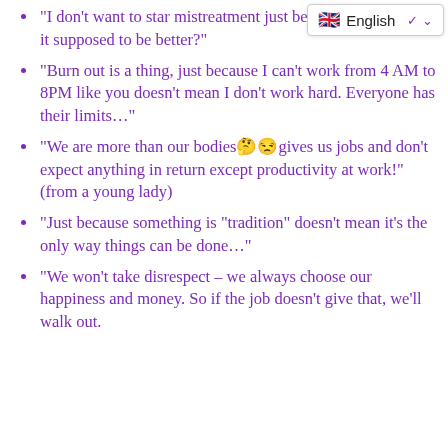[Figure (other): Language selector bar showing UK flag and 'English' label with dropdown chevron]
“I don’t want to star[t accepting] mistreatment just because you did. Isn’t it supposed to be better?”
“Burn out is a thing, just because I can’t work from 4 AM to 8PM like you doesn’t mean I don’t work hard. Everyone has their limits…”
“We are more than our bodies🤔🙄gives us jobs and don’t expect anything in return except productivity at work!” (from a young lady)
“Just because something is “tradition” doesn’t mean it’s the only way things can be done…”
“We won’t take disrespect – we always choose our happiness and money. So if the job doesn’t give that, we’ll walk out.